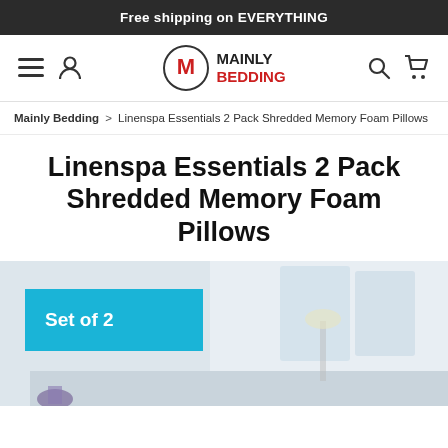Free shipping on EVERYTHING
[Figure (logo): Mainly Bedding logo with navigation icons (hamburger menu, user icon, search icon, cart icon)]
Mainly Bedding > Linenspa Essentials 2 Pack Shredded Memory Foam Pillows
Linenspa Essentials 2 Pack Shredded Memory Foam Pillows
[Figure (photo): Product photo of Linenspa shredded memory foam pillows in a bedroom setting with a 'Set of 2' teal badge overlay]